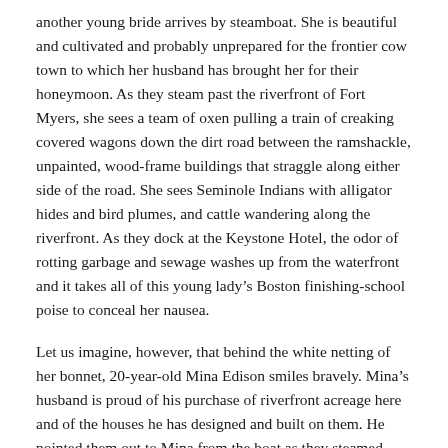another young bride arrives by steamboat. She is beautiful and cultivated and probably unprepared for the frontier cow town to which her husband has brought her for their honeymoon. As they steam past the riverfront of Fort Myers, she sees a team of oxen pulling a train of creaking covered wagons down the dirt road between the ramshackle, unpainted, wood-frame buildings that straggle along either side of the road. She sees Seminole Indians with alligator hides and bird plumes, and cattle wandering along the riverfront. As they dock at the Keystone Hotel, the odor of rotting garbage and sewage washes up from the waterfront and it takes all of this young lady’s Boston finishing-school poise to conceal her nausea.
Let us imagine, however, that behind the white netting of her bonnet, 20-year-old Mina Edison smiles bravely. Mina’s husband is proud of his purchase of riverfront acreage here and of the houses he has designed and built on them. He pointed them out to Mina from the boat as they steamed upriver, turning to her with a grin as wide as a boy’s.